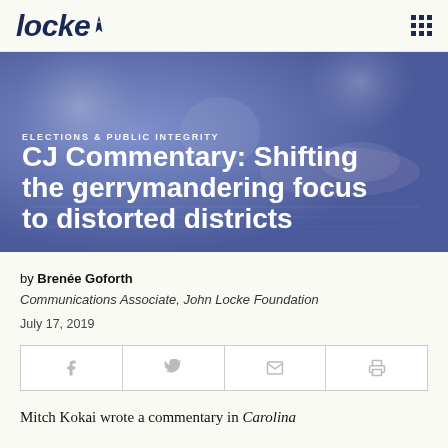locke [logo]
[Figure (photo): Hero banner with dark blue-purple overlay showing hands writing on a notebook, overlaid with article category and title text]
ELECTIONS & PUBLIC INTEGRITY
CJ Commentary: Shifting the gerrymandering focus to distorted districts
by Brenée Goforth
Communications Associate, John Locke Foundation
July 17, 2019
[Figure (infographic): Social share bar with icons for Facebook, Twitter, Email, and Print]
Mitch Kokai wrote a commentary in Carolina